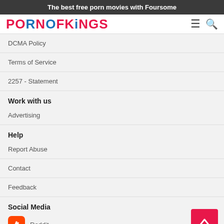The best free porn movies with Foursome
PORNOFKINGS
DCMA Policy
Terms of Service
2257 - Statement
Work with us
Advertising
Help
Report Abuse
Contact
Feedback
Social Media
Reddit
Facebook